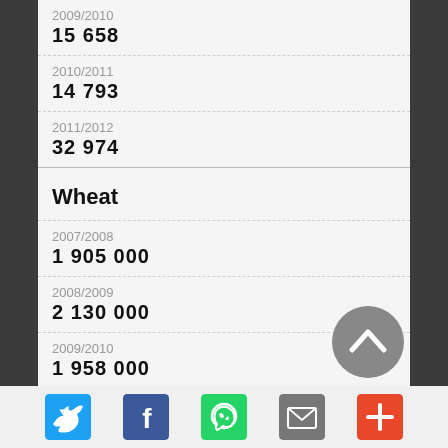2009/2010
15 658
2010/2011
14 793
2011/2012
32 974
Wheat
2007/2008
1 905 000
2008/2009
2 130 000
2009/2010
1 958 000
2010/2011
1 430 000
2011/2012
[Figure (infographic): Social sharing buttons: Twitter (blue), Facebook (dark blue), WhatsApp (green), Email (grey), More (orange-red)]